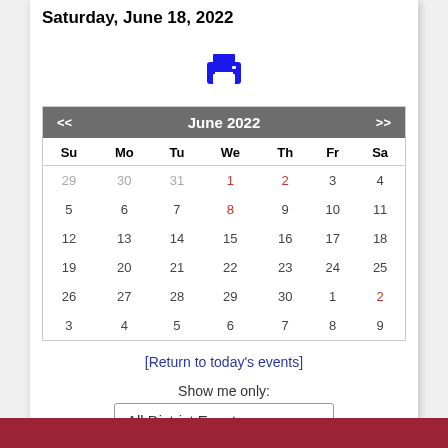Saturday, June 18, 2022
[Figure (illustration): Blue printer icon]
| Su | Mo | Tu | We | Th | Fr | Sa |
| --- | --- | --- | --- | --- | --- | --- |
| 29 | 30 | 31 | 1 | 2 | 3 | 4 |
| 5 | 6 | 7 | 8 | 9 | 10 | 11 |
| 12 | 13 | 14 | 15 | 16 | 17 | 18 |
| 19 | 20 | 21 | 22 | 23 | 24 | 25 |
| 26 | 27 | 28 | 29 | 30 | 1 | 2 |
| 3 | 4 | 5 | 6 | 7 | 8 | 9 |
[Return to today's events]
Show me only:
All District Events